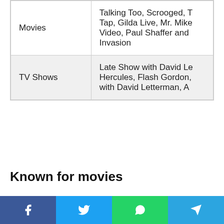| Category | Content |
| --- | --- |
| Movies | Talking Too, Scrooged, Tap, Gilda Live, Mr. Mike Video, Paul Shaffer and Invasion |
| TV Shows | Late Show with David Le Hercules, Flash Gordon, with David Letterman, A |
Known for movies